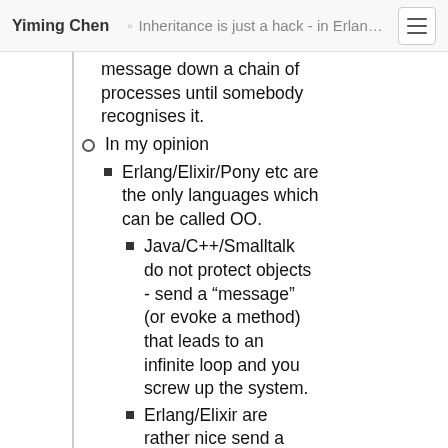Yiming Chen · Inheritance is just a hack - in Erlang/Elixir you can just send a message down a chain of processes until somebody recognises it.
message down a chain of processes until somebody recognises it.
In my opinion
Erlang/Elixir/Pony etc are the only languages which can be called OO.
Java/C++/Smalltalk do not protect objects - send a “message” (or evoke a method) that leads to an infinite loop and you screw up the system.
Erlang/Elixir are rather nice send a